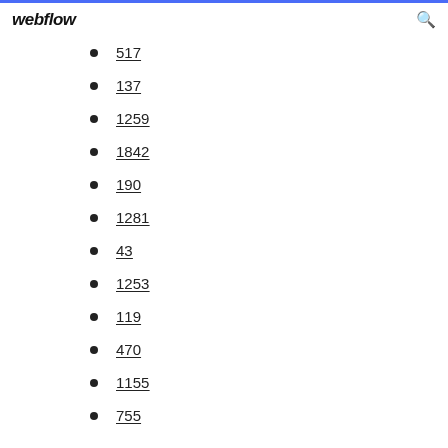webflow
517
137
1259
1842
190
1281
43
1253
119
470
1155
755